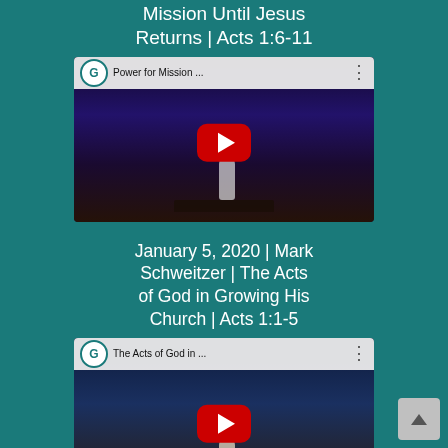Mission Until Jesus Returns | Acts 1:6-11
[Figure (screenshot): YouTube video thumbnail for 'Power for Mission ...' showing a person on a church stage with purple stage lighting. YouTube bar at top with G logo channel icon.]
January 5, 2020 | Mark Schweitzer | The Acts of God in Growing His Church | Acts 1:1-5
[Figure (screenshot): YouTube video thumbnail for 'The Acts of God in ...' showing a person on a church stage. YouTube bar at top with G logo channel icon.]